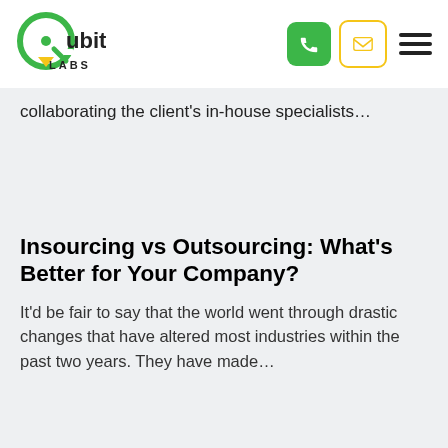[Figure (logo): Qubit Labs logo — green circle with stylized Q, text reading 'Qubit LABS']
collaborating the client's in-house specialists…
Insourcing vs Outsourcing: What's Better for Your Company?
It'd be fair to say that the world went through drastic changes that have altered most industries within the past two years. They have made…